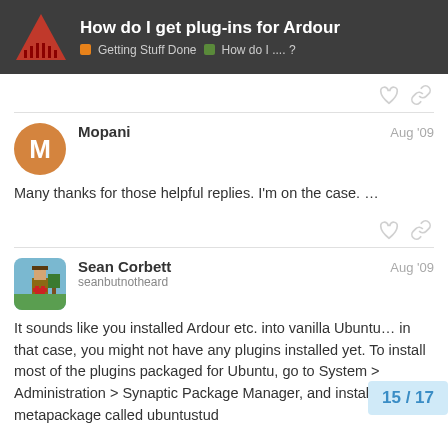How do I get plug-ins for Ardour | Getting Stuff Done > How do I .... ?
Many thanks for those helpful replies. I'm on the case. …
It sounds like you installed Ardour etc. into vanilla Ubuntu… in that case, you might not have any plugins installed yet. To install most of the plugins packaged for Ubuntu, go to System > Administration > Synaptic Package Manager, and install the metapackage called ubuntustud